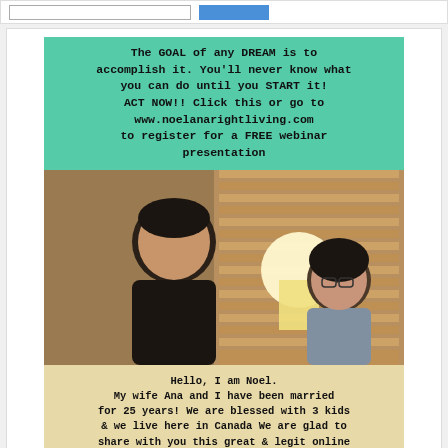[Figure (screenshot): Top bar with input field and blue button]
The GOAL of any DREAM is to accomplish it. You'll never know what you can do until you START it! ACT NOW!! Click this or go to www.noelanarightliving.com to register for a FREE webinar presentation
[Figure (photo): Photo of a man and woman sitting indoors with lamp and window blinds in background]
Hello, I am Noel. My wife Ana and I have been married for 25 years! We are blessed with 3 kids & we live here in Canada We are glad to share with you this great & legit online digital business towards early retirement using social media. Email us for more details at info@noelanarightliving.com Thank you